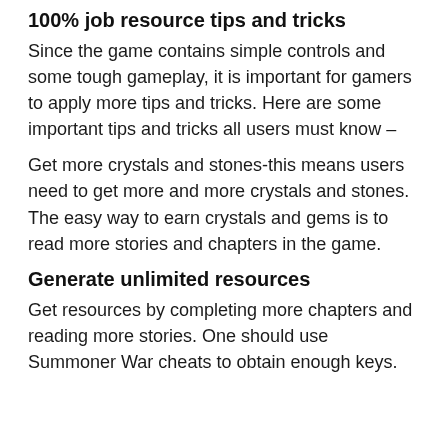100% job resource tips and tricks
Since the game contains simple controls and some tough gameplay, it is important for gamers to apply more tips and tricks. Here are some important tips and tricks all users must know –
Get more crystals and stones-this means users need to get more and more crystals and stones. The easy way to earn crystals and gems is to read more stories and chapters in the game.
Generate unlimited resources
Get resources by completing more chapters and reading more stories. One should use Summoner War cheats to obtain enough keys.